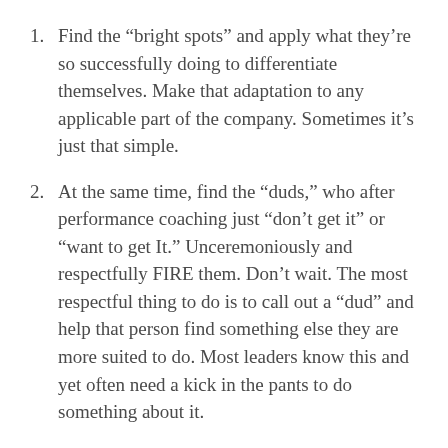Find the “bright spots” and apply what they’re so successfully doing to differentiate themselves. Make that adaptation to any applicable part of the company. Sometimes it’s just that simple.
At the same time, find the “duds,” who after performance coaching just “don’t get it” or “want to get It.” Unceremoniously and respectfully FIRE them. Don’t wait. The most respectful thing to do is to call out a “dud” and help that person find something else they are more suited to do. Most leaders know this and yet often need a kick in the pants to do something about it.
Driving to high level of cultural performance is like being on a teeter-totter. It’s a balance between finding/replicating “bright spots,”